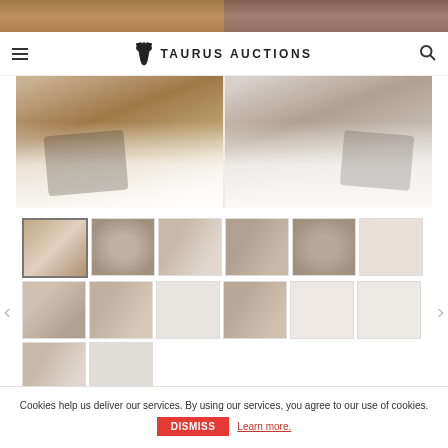[Figure (photo): Top portion of auction item photos showing tribal masks held by gloved hands]
TAURUS AUCTIONS
[Figure (photo): Main large image showing hands holding tribal/African masks against white background]
[Figure (photo): Thumbnail gallery grid showing 14 thumbnail images of auction lot items (tribal masks and artifacts)]
Cookies help us deliver our services. By using our services, you agree to our use of cookies.
DISMISS
Learn more.